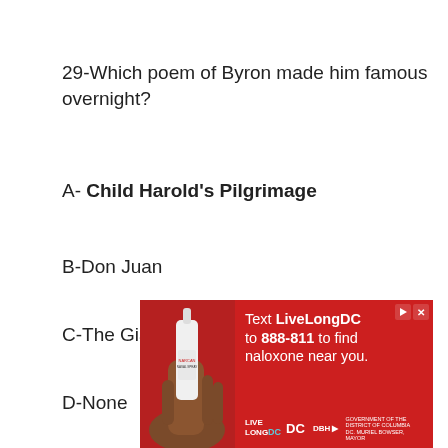29-Which poem of Byron made him famous overnight?
A- Child Harold's Pilgrimage
B-Don Juan
C-The Giaour
D-None
[Figure (photo): Advertisement banner with red background showing a hand holding a nasal spray. Text reads: Text LiveLongDC to 888-811 to find naloxone near you. Logos for Live Long DC, DBH, and DC government are shown.]